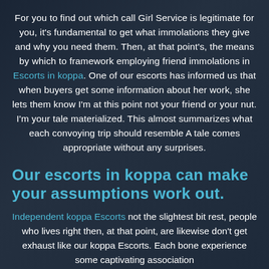For you to find out which call Girl Service is legitimate for you, it's fundamental to get what immolations they give and why you need them. Then, at that point's, the means by which to framework employing friend immolations in Escorts in koppa. One of our escorts has informed us that when buyers get some information about her work, she lets them know I'm at this point not your friend or your nut. I'm your tale materialized. This almost summarizes what each convoying trip should resemble A tale comes appropriate without any surprises.
Our escorts in koppa can make your assumptions work out.
Independent koppa Escorts not the slightest bit rest, people who lives right then, at that point, are likewise don't get exhaust like our koppa Escorts. Each bone experience some captivating association